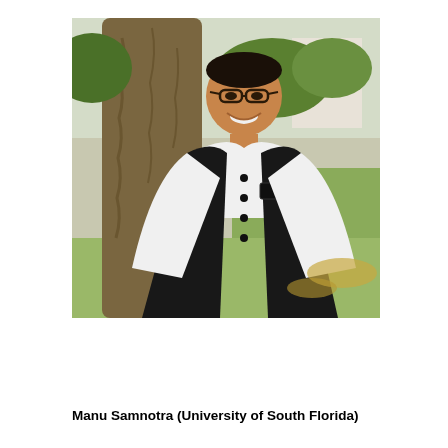[Figure (photo): A man wearing glasses, a black vest over a white shirt, smiling in front of a tree with a building and greenery in the background outdoors.]
Manu Samnotra (University of South Florida)